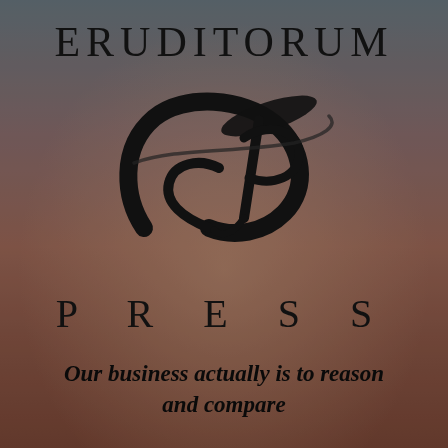[Figure (logo): Eruditorum Press logo page with decorative background showing a muted painting of ballet dancers. Large stylized 'EP' monogram in black calligraphic script in the center. Text reads ERUDITORUM at top, PRESS below logo, and italic tagline at the bottom.]
ERUDITORUM
PRESS
Our business actually is to reason and compare